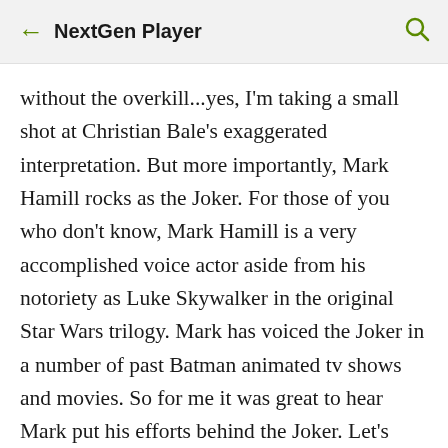← NextGen Player
without the overkill...yes, I'm taking a small shot at Christian Bale's exaggerated interpretation. But more importantly, Mark Hamill rocks as the Joker. For those of you who don't know, Mark Hamill is a very accomplished voice actor aside from his notoriety as Luke Skywalker in the original Star Wars trilogy. Mark has voiced the Joker in a number of past Batman animated tv shows and movies. So for me it was great to hear Mark put his efforts behind the Joker. Let's face it, a bad Joker just 'kills' everything...no pun intended.